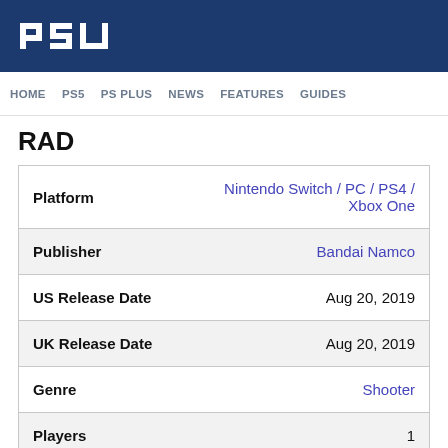PSU
HOME  PS5  PS PLUS  NEWS  FEATURES  GUIDES
RAD
| Field | Value |
| --- | --- |
| Platform | Nintendo Switch / PC / PS4 / Xbox One |
| Publisher | Bandai Namco |
| US Release Date | Aug 20, 2019 |
| UK Release Date | Aug 20, 2019 |
| Genre | Shooter |
| Players | 1 |